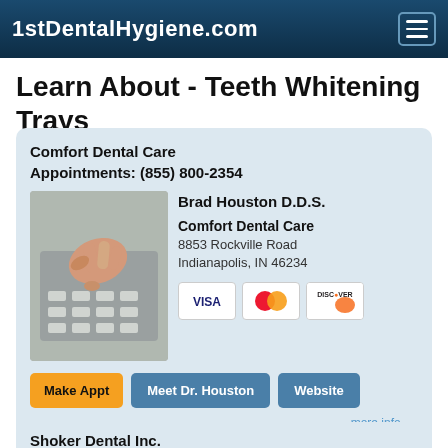1stDentalHygiene.com
Learn About - Teeth Whitening Trays
Comfort Dental Care
Appointments: (855) 800-2354
[Figure (photo): Hand pressing keys on a telephone keypad]
Brad Houston D.D.S.
Comfort Dental Care
8853 Rockville Road
Indianapolis, IN 46234
[Figure (other): Payment card icons: Visa, MasterCard, Discover]
Make Appt   Meet Dr. Houston   Website
more info ...
Shoker Dental Inc.